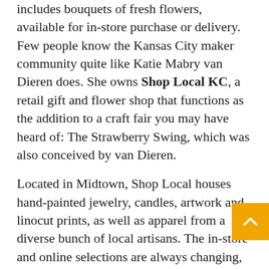includes bouquets of fresh flowers, available for in-store purchase or delivery. Few people know the Kansas City maker community quite like Katie Mabry van Dieren does. She owns Shop Local KC, a retail gift and flower shop that functions as the addition to a craft fair you may have heard of: The Strawberry Swing, which was also conceived by van Dieren.
Located in Midtown, Shop Local houses hand-painted jewelry, candles, artwork and linocut prints, as well as apparel from a diverse bunch of local artisans. The in-store and online selections are always changing, and the retail space — instantly recognizable by its splashy blue and green exterior mural — is welcoming and friendly. It's a space designed by artists, for artists.
Whether you are a Discover and shop artist for your in-